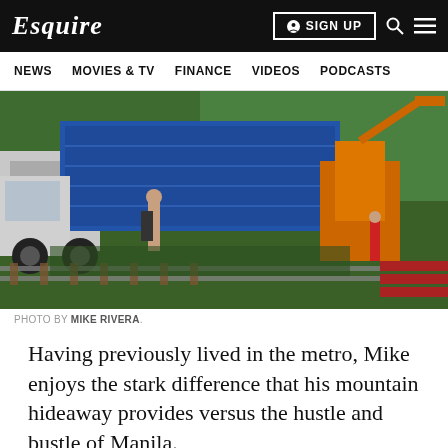Esquire | SIGN UP
NEWS   MOVIES & TV   FINANCE   VIDEOS   PODCASTS
[Figure (photo): Outdoor scene showing a large truck with blue container, shirtless man standing in tall grass near railway tracks, and an orange crane/excavator in the background with tropical vegetation]
PHOTO BY MIKE RIVERA.
Having previously lived in the metro, Mike enjoys the stark difference that his mountain hideaway provides versus the hustle and bustle of Manila.